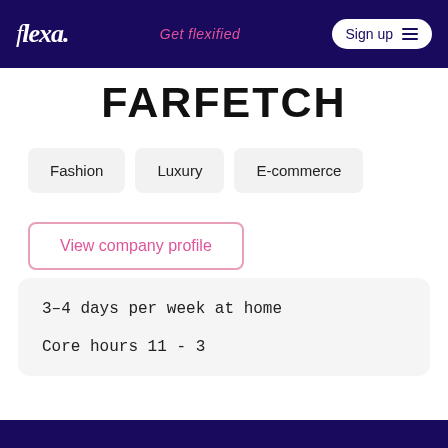flexa. — Get flexified — Sign up
FARFETCH
Fashion
Luxury
E-commerce
View company profile
3–4 days per week at home
Core hours 11 - 3